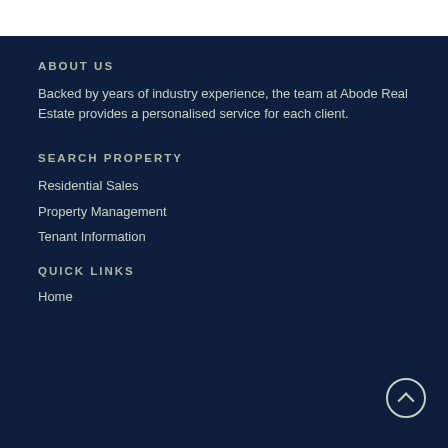ABOUT US
Backed by years of industry experience, the team at Abode Real Estate provides a personalised service for each client.
SEARCH PROPERTY
Residential Sales
Property Management
Tenant Information
QUICK LINKS
Home